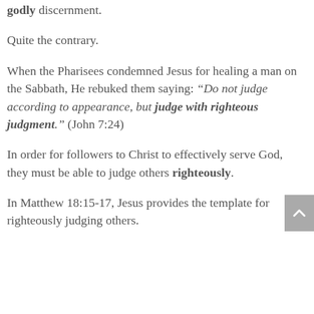godly discernment.
Quite the contrary.
When the Pharisees condemned Jesus for healing a man on the Sabbath, He rebuked them saying: “Do not judge according to appearance, but judge with righteous judgment.” (John 7:24)
In order for followers to Christ to effectively serve God, they must be able to judge others righteously.
In Matthew 18:15-17, Jesus provides the template for righteously judging others.